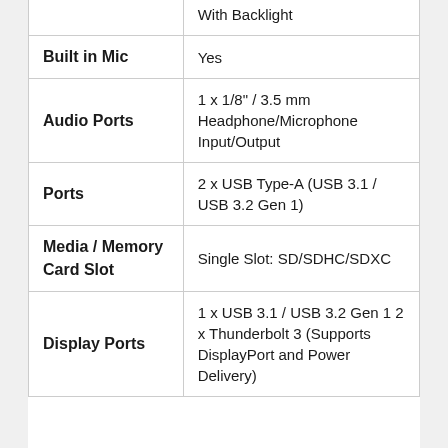| Feature | Value |
| --- | --- |
|  | With Backlight |
| Built in Mic | Yes |
| Audio Ports | 1 x 1/8" / 3.5 mm Headphone/Microphone Input/Output |
| Ports | 2 x USB Type-A (USB 3.1 / USB 3.2 Gen 1) |
| Media / Memory Card Slot | Single Slot: SD/SDHC/SDXC |
| Display Ports | 1 x USB 3.1 / USB 3.2 Gen 1 2 x Thunderbolt 3 (Supports DisplayPort and Power Delivery) |